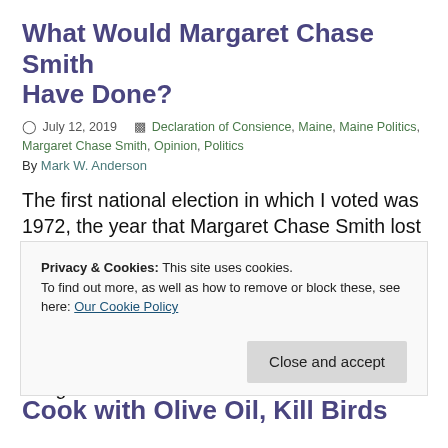What Would Margaret Chase Smith Have Done?
July 12, 2019   Declaration of Consience, Maine, Maine Politics, Margaret Chase Smith, Opinion, Politics
By Mark W. Anderson
The first national election in which I voted was 1972, the year that Margaret Chase Smith lost her U.S. Senate seat to Bill Hathaway.  I am sure I must have voted for Hathaway, largely because of Senator Smith's dogged support for American policies in Vietnam. My early political inclinations notwithstanding, I find the Margaret
Privacy & Cookies: This site uses cookies.
To find out more, as well as how to remove or block these, see here: Our Cookie Policy
Cook with Olive Oil, Kill Birds